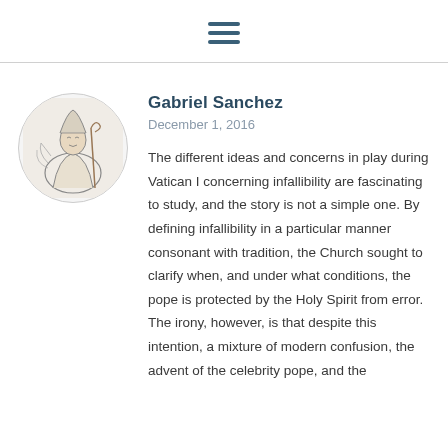≡
[Figure (illustration): Circular avatar image showing a pencil sketch illustration of a robed figure, possibly religious or medieval in nature]
Gabriel Sanchez
December 1, 2016
The different ideas and concerns in play during Vatican I concerning infallibility are fascinating to study, and the story is not a simple one. By defining infallibility in a particular manner consonant with tradition, the Church sought to clarify when, and under what conditions, the pope is protected by the Holy Spirit from error. The irony, however, is that despite this intention, a mixture of modern confusion, the advent of the celebrity pope, and the